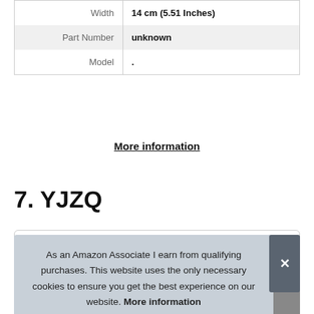| Attribute | Value |
| --- | --- |
| Width | 14 cm (5.51 Inches) |
| Part Number | unknown |
| Model | . |
More information
7. YJZQ
As an Amazon Associate I earn from qualifying purchases. This website uses the only necessary cookies to ensure you get the best experience on our website. More information